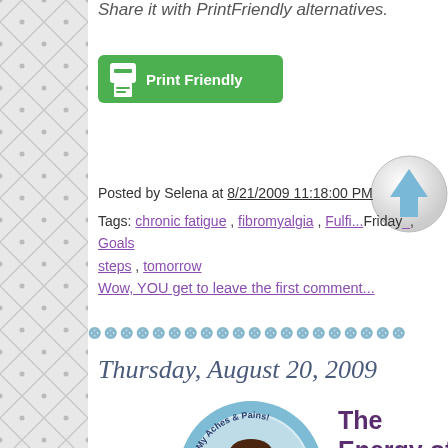Share it with PrintFriendly alternatives.
[Figure (illustration): Green Print Friendly button with printer icon]
Posted by Selena at 8/21/2009 11:18:00 PM
Tags: chronic fatigue , fibromyalgia , Fulfillment Friday , Goals , steps , tomorrow
Wow, YOU get to leave the first comment...
[Figure (illustration): Decorative teal/blue horizontal divider with repeating scroll pattern]
Thursday, August 20, 2009
[Figure (logo): Oh My Aches & Pains blog logo - circular with cartoon brunette woman]
The Energy of t... Switched O... Inspection...